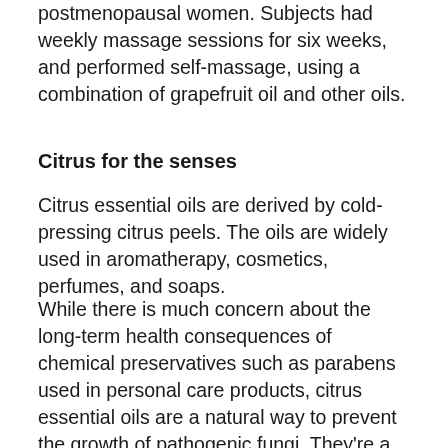postmenopausal women. Subjects had weekly massage sessions for six weeks, and performed self-massage, using a combination of grapefruit oil and other oils.
Citrus for the senses
Citrus essential oils are derived by cold-pressing citrus peels. The oils are widely used in aromatherapy, cosmetics, perfumes, and soaps.
While there is much concern about the long-term health consequences of chemical preservatives such as parabens used in personal care products, citrus essential oils are a natural way to prevent the growth of pathogenic fungi. They're a perfectly safe addition to formulations you use on and in your body.